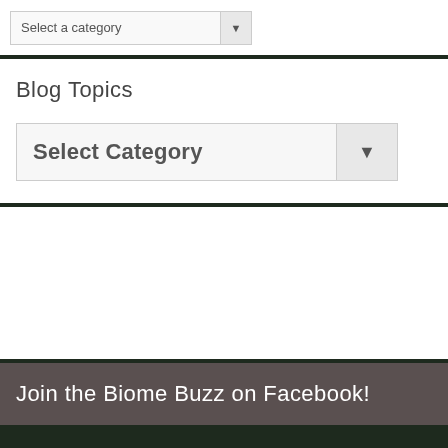[Figure (screenshot): Top widget panel with a 'Select a category' dropdown selector on white background]
Blog Topics
[Figure (screenshot): Blog Topics widget with a 'Select Category' dropdown selector on white background]
[Figure (screenshot): Empty white content panel]
Join the Biome Buzz on Facebook!